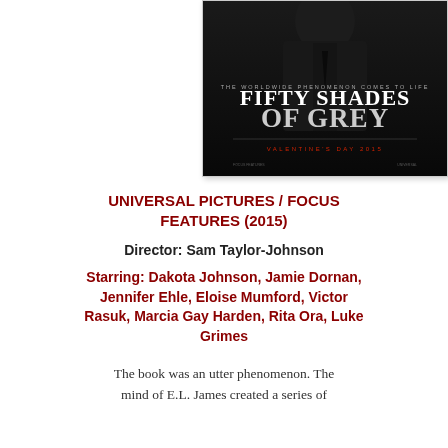[Figure (photo): Movie poster for Fifty Shades of Grey (2015). Dark background showing a figure in a suit. Text reads 'THE WORLDWIDE PHENOMENON COMES TO LIFE', 'FIFTY SHADES OF GREY', 'VALENTINE'S DAY 2015'.]
UNIVERSAL PICTURES / FOCUS FEATURES (2015)
Director: Sam Taylor-Johnson
Starring: Dakota Johnson, Jamie Dornan, Jennifer Ehle, Eloise Mumford, Victor Rasuk, Marcia Gay Harden, Rita Ora, Luke Grimes
The book was an utter phenomenon. The mind of E.L. James created a series of